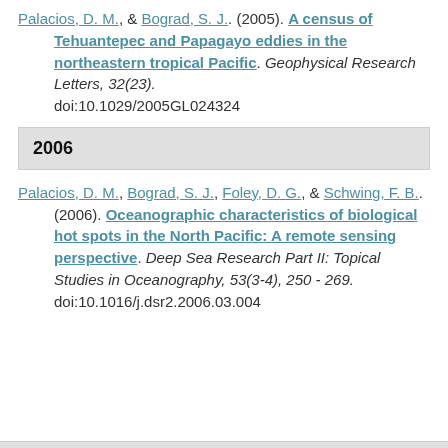Palacios, D. M., & Bograd, S. J.. (2005). A census of Tehuantepec and Papagayo eddies in the northeastern tropical Pacific. Geophysical Research Letters, 32(23). doi:10.1029/2005GL024324
2006
Palacios, D. M., Bograd, S. J., Foley, D. G., & Schwing, F. B.. (2006). Oceanographic characteristics of biological hot spots in the North Pacific: A remote sensing perspective. Deep Sea Research Part II: Topical Studies in Oceanography, 53(3-4), 250 - 269. doi:10.1016/j.dsr2.2006.03.004